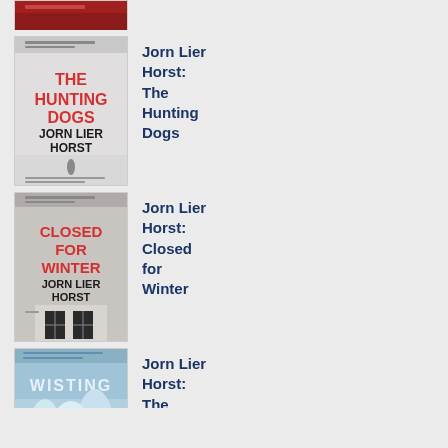[Figure (photo): Partial book cover cropped at top of page, red/dark colored]
[Figure (photo): Book cover: The Hunting Dogs by Jorn Lier Horst — red text on grey/white winter scene]
Jorn Lier Horst: The Hunting Dogs
[Figure (photo): Book cover: Closed for Winter by Jorn Lier Horst — red text, dark building]
Jorn Lier Horst: Closed for Winter
[Figure (photo): Book cover: Wisting by Jorn Lier Horst — snowy blue scene]
Jorn Lier Horst: The Inner